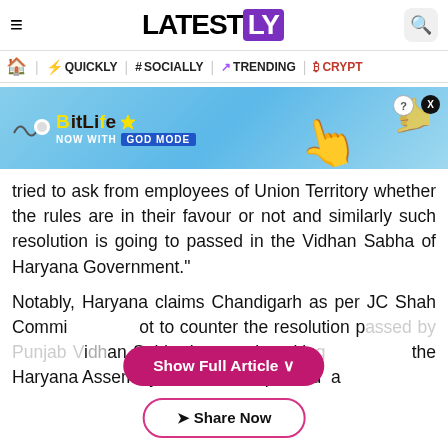LATESTLY
QUICKLY | # SOCIALLY | TRENDING | CRYPTO
[Figure (screenshot): BitLife advertisement banner: 'NOW WITH GOD MODE' on a blue background with hand illustrations]
tried to ask from employees of Union Territory whether the rules are in their favour or not and similarly such resolution is going to passed in the Vidhan Sabha of Haryana Government."
Notably, Haryana claims Chandigarh as per JC Shah Commi... ot to counter the resolution passed by Punjab Vidhan Sabha last week staking... the Haryana Assembly ... passed a
Show Full Article ∨
➤ Share Now